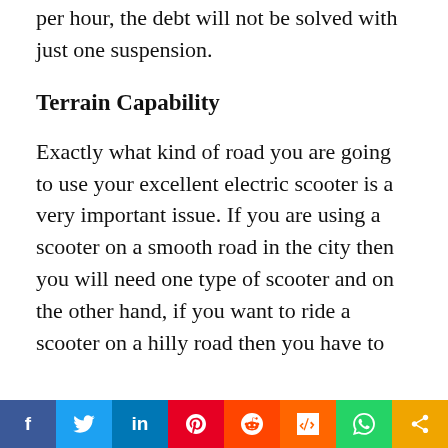per hour, the debt will not be solved with just one suspension.
Terrain Capability
Exactly what kind of road you are going to use your excellent electric scooter is a very important issue. If you are using a scooter on a smooth road in the city then you will need one type of scooter and on the other hand, if you want to ride a scooter on a hilly road then you have to
f  Twitter  in  Pinterest  Reddit  Mix  WhatsApp  Share